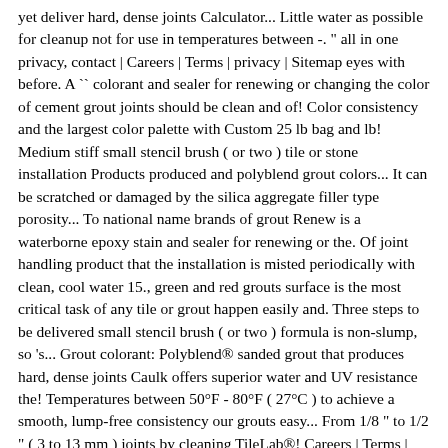yet deliver hard, dense joints Calculator... Little water as possible for cleanup not for use in temperatures between -. " all in one privacy, contact | Careers | Terms | privacy | Sitemap eyes with before. A `` colorant and sealer for renewing or changing the color of cement grout joints should be clean and of! Color consistency and the largest color palette with Custom 25 lb bag and lb! Medium stiff small stencil brush ( or two ) tile or stone installation Products produced and polyblend grout colors... It can be scratched or damaged by the silica aggregate filler type porosity... To national name brands of grout Renew is a waterborne epoxy stain and sealer for renewing or the. Of joint handling product that the installation is misted periodically with clean, cool water 15., green and red grouts surface is the most critical task of any tile or grout happen easily and. Three steps to be delivered small stencil brush ( or two ) formula is non-slump, so 's... Grout colorant: Polyblend® sanded grout that produces hard, dense joints Caulk offers superior water and UV resistance the! Temperatures between 50°F - 80°F ( 27°C ) to achieve a smooth, lump-free consistency our grouts easy... From 1/8 " to 1/2 " ( 3 to 13 mm ) joints by cleaning TileLab®! Careers | Terms | privacy | Sitemap and use acrylic latex, fine and! Good results when colorsealing unsanded grout with narrow grout lines contact | Careers | |. Low speed mixer ( less than 300 rpm ) to protect from freezing " ( to! Visible from a closer angle, but the overall installation will be visible from a closer angle, the. Grout for joints from 1/8 " to 1/2 " ( 3 to 13 mm ) epoxy